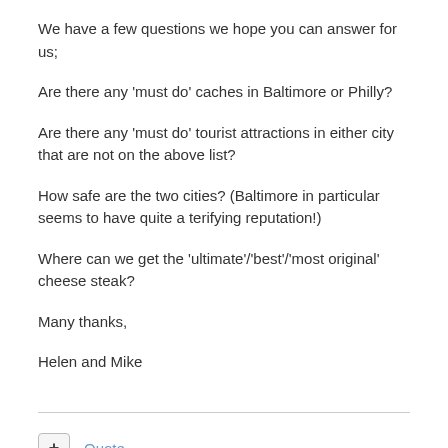We have a few questions we hope you can answer for us;
Are there any 'must do' caches in Baltimore or Philly?
Are there any 'must do' tourist attractions in either city that are not on the above list?
How safe are the two cities? (Baltimore in particular seems to have quite a terifying reputation!)
Where can we get the 'ultimate'/'best'/'most original' cheese steak?
Many thanks,
Helen and Mike
Quote
+briansnat